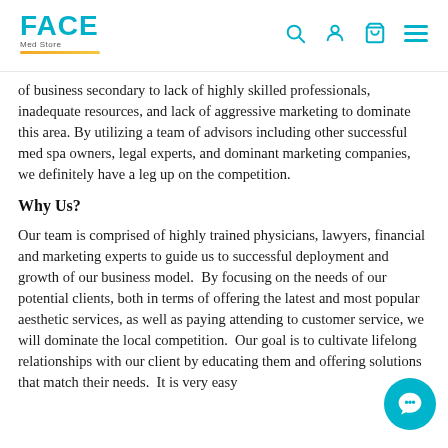FACE Med Store
of business secondary to lack of highly skilled professionals, inadequate resources, and lack of aggressive marketing to dominate this area. By utilizing a team of advisors including other successful med spa owners, legal experts, and dominant marketing companies, we definitely have a leg up on the competition.
Why Us?
Our team is comprised of highly trained physicians, lawyers, financial and marketing experts to guide us to successful deployment and growth of our business model.  By focusing on the needs of our potential clients, both in terms of offering the latest and most popular aesthetic services, as well as paying attending to customer service, we will dominate the local competition.  Our goal is to cultivate lifelong relationships with our client by educating them and offering solutions that match their needs.  It is very easy to accomplish this and build a long roster of satisfied customers